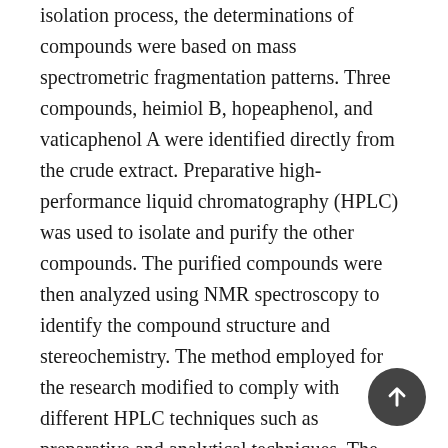isolation process, the determinations of compounds were based on mass spectrometric fragmentation patterns. Three compounds, heimiol B, hopeaphenol, and vaticaphenol A were identified directly from the crude extract. Preparative high-performance liquid chromatography (HPLC) was used to isolate and purify the other compounds. The purified compounds were then analyzed using NMR spectroscopy to identify the compound structure and stereochemistry. The method employed for the research modified to comply with different HPLC techniques such as preparative and analytical techniques. The crude sample was injected into preparative HPLC to obtain several fractions which consist of oligostilbene mixture. The fractions were further isolated using analytical HPLC to obtain four pure compounds. The compounds then were characterized using nuclear magnetic resonance (NMR). The result shows that the leaves extract of